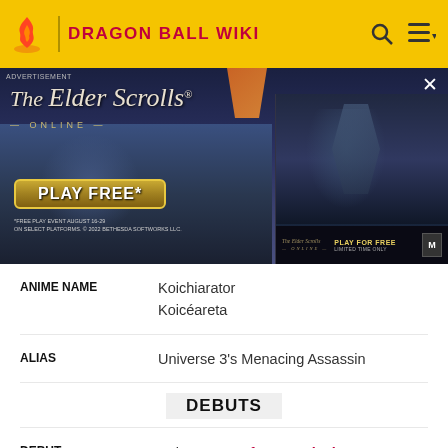DRAGON BALL WIKI
[Figure (screenshot): The Elder Scrolls Online advertisement banner with 'PLAY FREE' button and medieval battle scene]
| ANIME NAME | Koichiarator
Koicéareta |
| ALIAS | Universe 3's Menacing Assassin |
DEBUTS
| DEBUT | Anime: "A Perfect Survival Strategy! The 3rd Universe's Menacing Assassin!" |